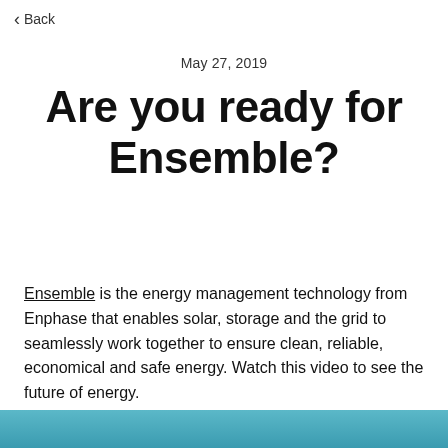Back
May 27, 2019
Are you ready for Ensemble?
Ensemble is the energy management technology from Enphase that enables solar, storage and the grid to seamlessly work together to ensure clean, reliable, economical and safe energy. Watch this video to see the future of energy.
[Figure (photo): Partial image strip at bottom of page, showing a teal/blue sky or water scene]